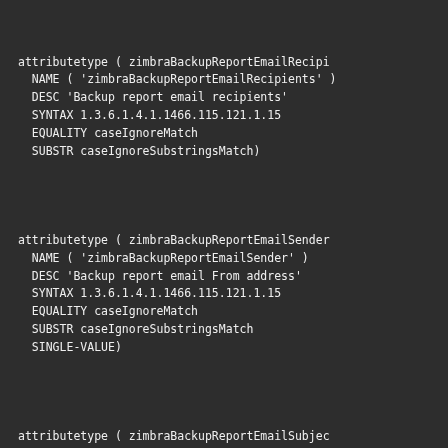attributetype ( zimbraBackupReportEmailRecipients
  NAME ( 'zimbraBackupReportEmailRecipients' )
  DESC 'Backup report email recipients'
  SYNTAX 1.3.6.1.4.1.1466.115.121.1.15
  EQUALITY caseIgnoreMatch
  SUBSTR caseIgnoreSubstringsMatch)
attributetype ( zimbraBackupReportEmailSender
  NAME ( 'zimbraBackupReportEmailSender' )
  DESC 'Backup report email From address'
  SYNTAX 1.3.6.1.4.1.1466.115.121.1.15
  EQUALITY caseIgnoreMatch
  SUBSTR caseIgnoreSubstringsMatch
  SINGLE-VALUE)
attributetype ( zimbraBackupReportEmailSubjectPrefix
  NAME ( 'zimbraBackupReportEmailSubjectPrefix' )
  DESC 'Backup report email subject prefix'
  SYNTAX 1.3.6.1.4.1.1466.115.121.1.15
  EQUALITY caseIgnoreMatch
  SUBSTR caseIgnoreSubstringsMatch
  SINGLE-VALUE)